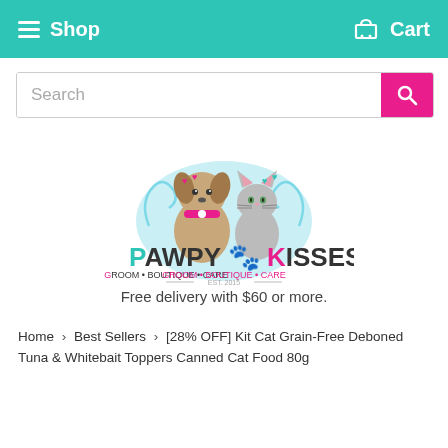Shop   Cart
[Figure (screenshot): Search bar with pink search button]
[Figure (logo): Pawpy Kisses logo with cartoon dog and cat, text: PAWPY KISSES GROOM • BOUTIQUE • CARE EST. 2015]
Free delivery with $60 or more.
Home › Best Sellers › [28% OFF] Kit Cat Grain-Free Deboned Tuna & Whitebait Toppers Canned Cat Food 80g